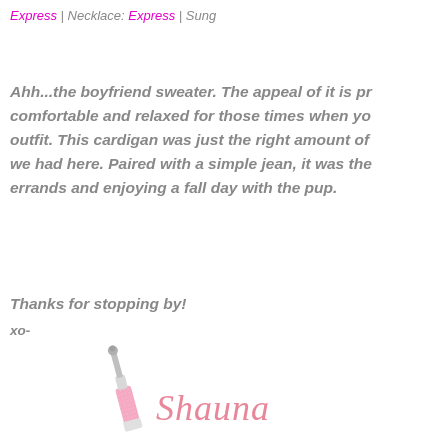Express | Necklace: Express | Sung
Ahh...the boyfriend sweater. The appeal of it is pr comfortable and relaxed for those times when yo outfit. This cardigan was just the right amount of we had here. Paired with a simple jean, it was the errands and enjoying a fall day with the pup.
Thanks for stopping by!
xo-
[Figure (illustration): Pink lip gloss tube with wand, and cursive signature reading 'Shauna' in pink]